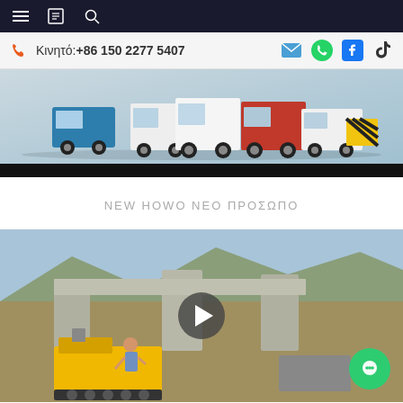Navigation bar with hamburger menu, book icon, and search icon
Κινητό:+86 150 2277 5407
[Figure (photo): Row of HOWO trucks lined up in a showroom/warehouse with light blue background, including white, red, and yellow trucks. Bottom has a black bar.]
NEW HOWO NEO ΠΡΟΣΩΠΟ
[Figure (photo): Video thumbnail showing a construction scene with a yellow crane/equipment on a highway bridge construction site. Worker visible operating machinery. Play button overlay in center. Green chat bubble icon at bottom right.]